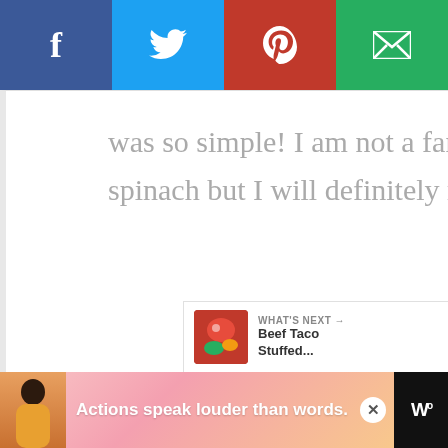[Figure (screenshot): Social sharing bar with Facebook (blue), Twitter (light blue), Pinterest (red), and Email (green) buttons]
was so simple! I am not a fan of kale so I'll replace it with spinach but I will definitely make this recipe! Yum! 🙂
Reply
[Figure (other): Heart/like button (green circle) with count 26, and share button below]
[Figure (other): WHAT'S NEXT -> Beef Taco Stuffed... widget with food image]
[Figure (other): Advertisement banner: Actions speak louder than words.]